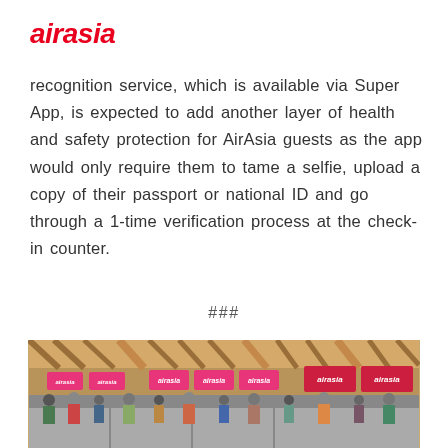[Figure (logo): AirAsia logo in red italic bold text]
recognition service, which is available via Super App, is expected to add another layer of health and safety protection for AirAsia guests as the app would only require them to tame a selfie, upload a copy of their passport or national ID and go through a 1-time verification process at the check-in counter.
###
[Figure (photo): AirAsia check-in counters at an airport terminal with pink/red AirAsia branded signage screens, passengers queuing at counters, modern terminal interior with wooden ceiling structure]